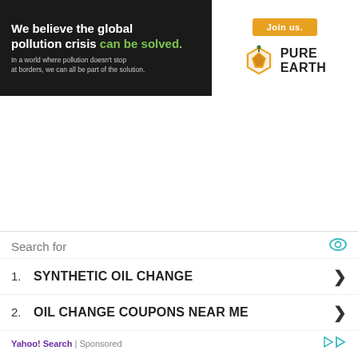[Figure (illustration): Pure Earth advertisement banner with dark background. Left side shows 'We believe the global pollution crisis can be solved.' in white/green text with subtext. Right side shows Pure Earth diamond logo and 'Join us.' orange button.]
It Only Can Support 12V Cars, No Trucks.
One Device only has one 32MB card as default, if you want to do more
[Figure (infographic): Yahoo Search sponsored ad block. Shows 'Search for' header with eye icon, then two items: 1. SYNTHETIC OIL CHANGE, 2. OIL CHANGE COUPONS NEAR ME. Footer shows Yahoo! Search | Sponsored with play icon.]